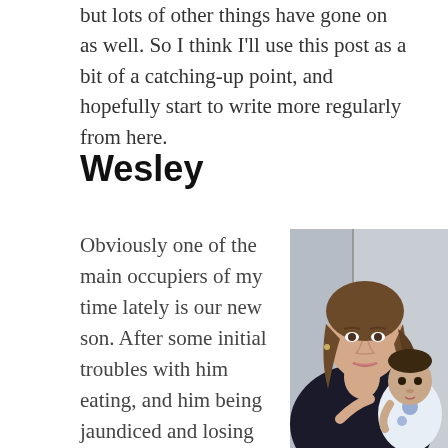but lots of other things have gone on as well. So I think I'll use this post as a bit of a catching-up point, and hopefully start to write more regularly from here.
Wesley
Obviously one of the main occupiers of my time lately is our new son. After some initial troubles with him eating, and him being jaundiced and losing weight,
[Figure (photo): A woman with brown hair holding a newborn baby dressed in a white onesie with blue designs. The woman is wearing a dark top and the photo is taken indoors against a light-colored background.]